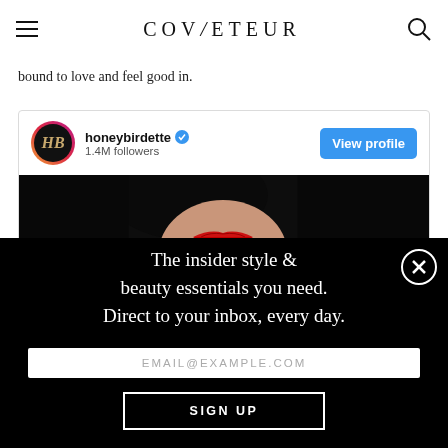COVETEUR
bound to love and feel good in.
[Figure (screenshot): Instagram embed card for honeybirdette with 1.4M followers and a View profile button, followed by a photo strip showing a woman with red lips and dark hair]
The insider style & beauty essentials you need. Direct to your inbox, every day.
EMAIL@EXAMPLE.COM
SIGN UP